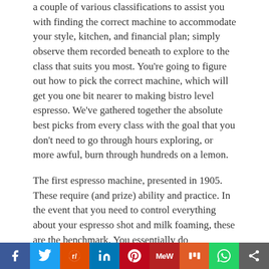a couple of various classifications to assist you with finding the correct machine to accommodate your style, kitchen, and financial plan; simply observe them recorded beneath to explore to the class that suits you most. You're going to figure out how to pick the correct machine, which will get you one bit nearer to making bistro level espresso. We've gathered together the absolute best picks from every class with the goal that you don't need to go through hours exploring, or more awful, burn through hundreds on a lemon.
The first espresso machine, presented in 1905. These require (and prize) ability and practice. In the event that you need to control everything about your espresso shot and milk foaming, these are the benchmark. You essentially do everything, from crushing, to pushing, to foaming, and afterward ideally getting a charge out of.
There are some best espresso machines which are under below.
[Figure (infographic): Social media share bar with icons: Facebook (blue), Twitter (light blue), Reddit (orange-red), LinkedIn (dark blue), Pinterest (red), MeWe (dark red), Mix (orange), WhatsApp (green), Share more (gray)]